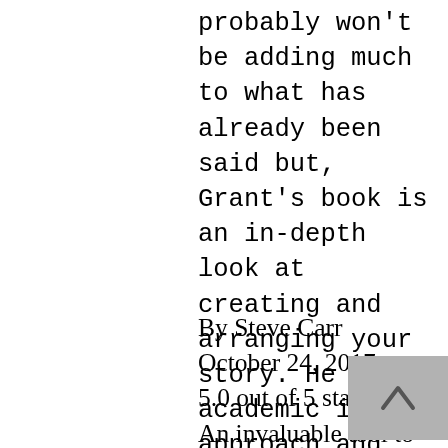probably won't be adding much to what has already been said but, Grant's book is an in-depth look at creating and arranging your story. He is academic in his approach and uses metaphors that are easy to understand and implement. If you don't have this book, you might think about getting it.
By Steve Carr
October 24, 2017
5.0 out of 5 stars
An invaluable tool to understanding how to write fiction
I have had nearly 100 short stories published and thought I knew about writing. This book taught me new ways to look at my own writing as